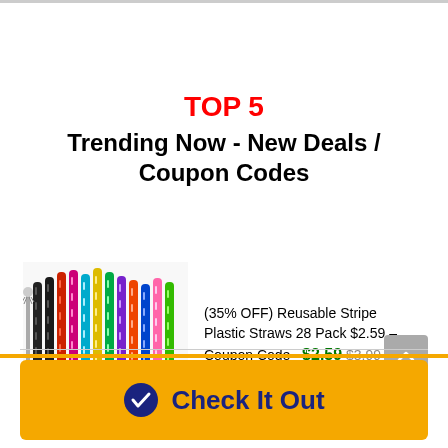TOP 5
Trending Now - New Deals / Coupon Codes
[Figure (photo): Colorful reusable stripe plastic straws bundle photo]
(35% OFF) Reusable Stripe Plastic Straws 28 Pack $2.59 – Coupon Code   $2.59  $3.99
Check It Out